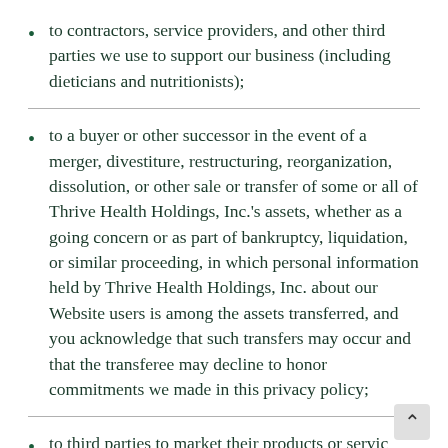to contractors, service providers, and other third parties we use to support our business (including dieticians and nutritionists);
to a buyer or other successor in the event of a merger, divestiture, restructuring, reorganization, dissolution, or other sale or transfer of some or all of Thrive Health Holdings, Inc.'s assets, whether as a going concern or as part of bankruptcy, liquidation, or similar proceeding, in which personal information held by Thrive Health Holdings, Inc. about our Website users is among the assets transferred, and you acknowledge that such transfers may occur and that the transferee may decline to honor commitments we made in this privacy policy;
to third parties to market their products or services to you if you have not opted out of these disclosures (for more information, see Choices About How We Use...